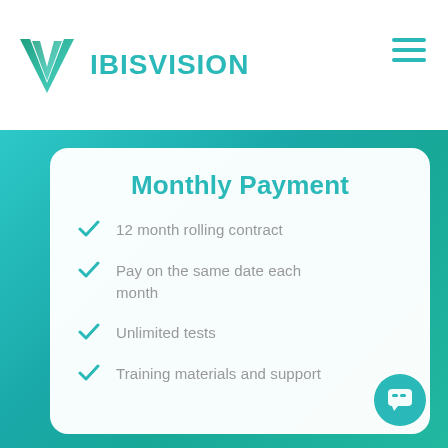[Figure (logo): IbisVision logo: teal checkmark V shape and brand name IBISVISION in teal]
Monthly Payment
12 month rolling contract
Pay on the same date each month
Unlimited tests
Training materials and support